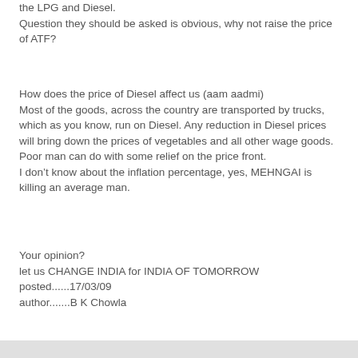the LPG and Diesel.
Question they should be asked is obvious, why not raise the price of ATF?
How does the price of Diesel affect us (aam aadmi)
Most of the goods, across the country are transported by trucks, which as you know, run on Diesel. Any reduction in Diesel prices will bring down the prices of vegetables and all other wage goods. Poor man can do with some relief on the price front.
I don't know about the inflation percentage, yes, MEHNGAI is killing an average man.
Your opinion?
let us CHANGE INDIA for INDIA OF TOMORROW
posted......17/03/09
author.......B K Chowla